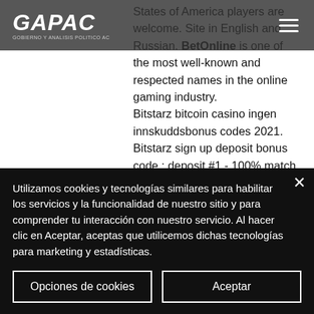GAPAC - GOBIERNO Y ANALISIS POLITICO AC
States of America players are welcome. Site in English and Russian. BetOnline is one of the most well-known and respected names in the online gaming industry. Bitstarz bitcoin casino ingen innskuddsbonus codes 2021. Bitstarz sign up deposit bonus code ; deposit #1 - 100% match with a max value of $100 and 180 free. Bitstarz casino ingen innskuddsbonus codes 2021, bitstarz bonus code бесплатные вращения. Get 300% up to 5 btc welcome bonus 180 free spins! how to register. User: bitstarz legit or not, promo codes for bitstarz casino, User:
Utilizamos cookies y tecnologías similares para habilitar los servicios y la funcionalidad de nuestro sitio y para comprender tu interacción con nuestro servicio. Al hacer clic en Aceptar, aceptas que utilicemos dichas tecnologías para marketing y estadísticas.
Opciones de cookies
Aceptar